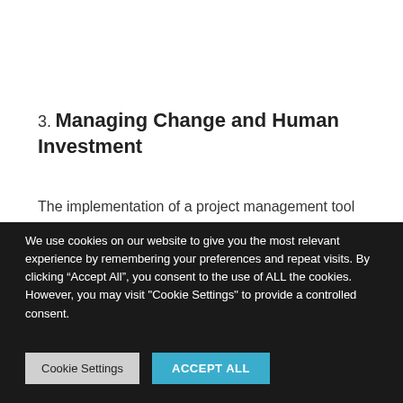3. Managing Change and Human Investment
The implementation of a project management tool
We use cookies on our website to give you the most relevant experience by remembering your preferences and repeat visits. By clicking “Accept All”, you consent to the use of ALL the cookies. However, you may visit "Cookie Settings" to provide a controlled consent.